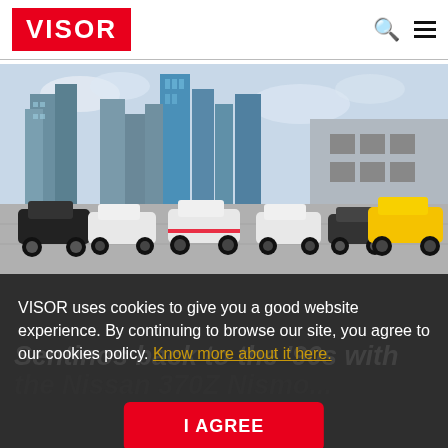VISOR
[Figure (photo): Multiple sports cars (mostly white Nissan 370Zs, one yellow, one dark classic car) parked on a rooftop parking lot with a city skyline in the background]
VISOR uses cookies to give you a good website experience. By continuing to browse our site, you agree to our cookies policy. Know more about it here.
I AGREE